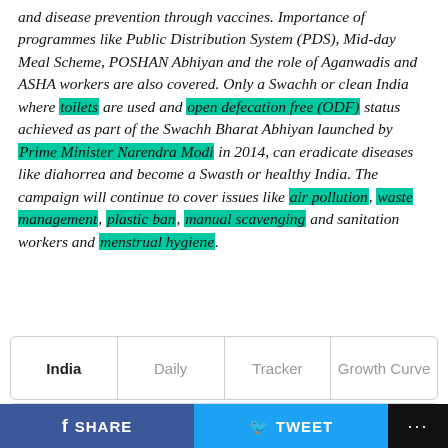and disease prevention through vaccines. Importance of programmes like Public Distribution System (PDS), Mid-day Meal Scheme, POSHAN Abhiyan and the role of Aganwadis and ASHA workers are also covered. Only a Swachh or clean India where toilets are used and open defecation free (ODF) status achieved as part of the Swachh Bharat Abhiyan launched by Prime Minister Narendra Modi in 2014, can eradicate diseases like diahorrea and become a Swasth or healthy India. The campaign will continue to cover issues like air pollution, waste management, plastic ban, manual scavenging and sanitation workers and menstrual hygiene.
India | Daily | Tracker | Growth Curve
SHARE  TWEET  ...